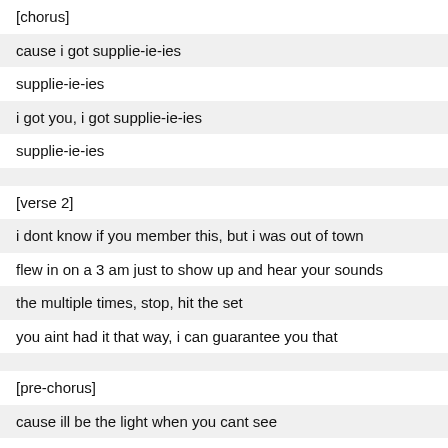[chorus]
cause i got supplie-ie-ies
supplie-ie-ies
i got you, i got supplie-ie-ies
supplie-ie-ies
[verse 2]
i dont know if you member this, but i was out of town
flew in on a 3 am just to show up and hear your sounds
the multiple times, stop, hit the set
you aint had it that way, i can guarantee you that
[pre-chorus]
cause ill be the light when you cant see